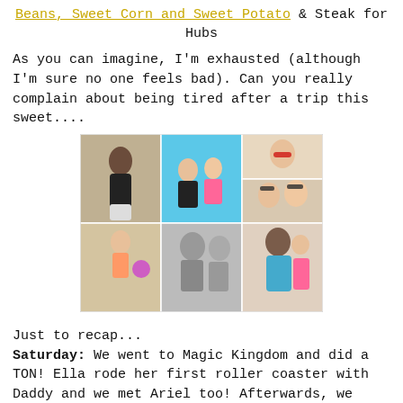Beans, Sweet Corn and Sweet Potato & Steak for Hubs
As you can imagine, I'm exhausted (although I'm sure no one feels bad). Can you really complain about being tired after a trip this sweet....
[Figure (photo): Collage of 6 beach/pool vacation photos showing family members including a pregnant woman, children, and adults at the beach and pool.]
Just to recap...
Saturday: We went to Magic Kingdom and did a TON! Ella rode her first roller coaster with Daddy and we met Ariel too! Afterwards, we went to our hotel for a quick nap (for Ella and Mommy), then Flippers Pizza for dinner. The timing was perfect to head over to Epcot to catch the fireworks. Ella